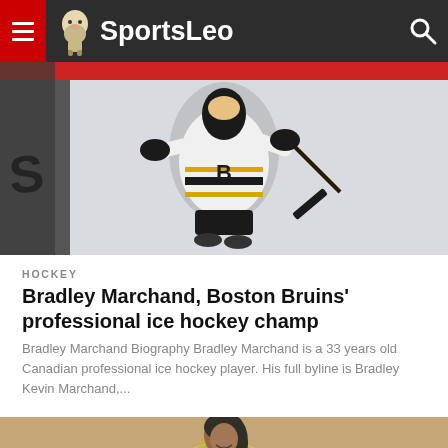SportsLeo
[Figure (photo): Boston Bruins ice hockey player celebrating on ice, wearing black and white Bruins jersey with hockey stick raised]
HOCKEY
Bradley Marchand, Boston Bruins' professional ice hockey champ
Bradley Marchand Biography Bradley Marchand is a 33 years old Canadian professional ice hockey player. His full byline is Bradley Kevin Marchand,...
[Figure (photo): Female basketball player in yellow jersey smiling on basketball court]